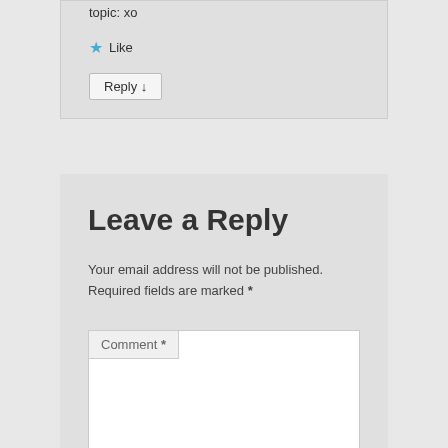topic: xo
★ Like
Reply ↓
Leave a Reply
Your email address will not be published. Required fields are marked *
Comment *